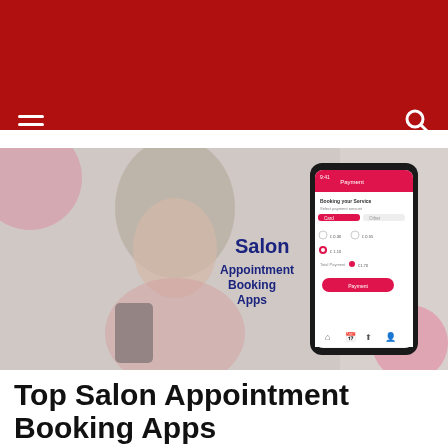[Figure (screenshot): Hero banner image showing a woman looking at a smartphone, overlaid with a mobile app UI showing a salon payment/booking screen. Text on the right side reads 'Salon Appointment Booking Apps' in dark navy bold text. Pink circle decorations in background.]
Top Salon Appointment Booking Apps